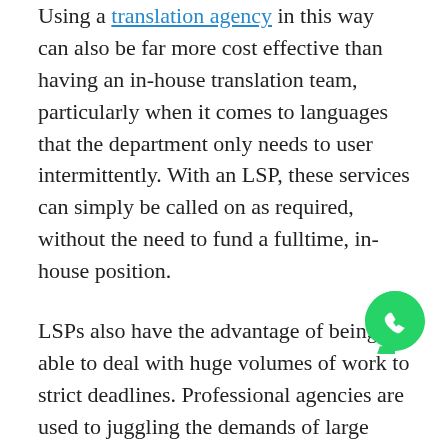Using a translation agency in this way can also be far more cost effective than having an in-house translation team, particularly when it comes to languages that the department only needs to user intermittently. With an LSP, these services can simply be called on as required, without the need to fund a fulltime, in-house position.
LSPs also have the advantage of being able to deal with huge volumes of work to strict deadlines. Professional agencies are used to juggling the demands of large projects and this includes delivering high quality translations in line with government departments' requirements.
How Government Agencies